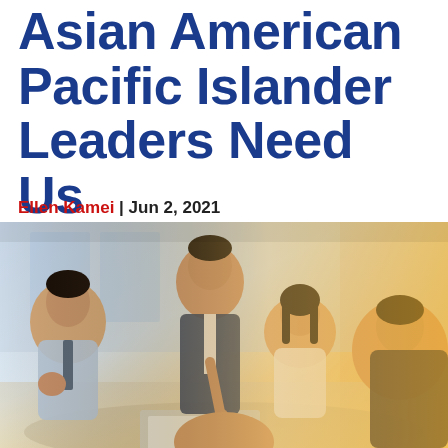Asian American Pacific Islander Leaders Need Us
Ellen Kamei | Jun 2, 2021
[Figure (photo): A group of Asian business professionals gathered around a table, one man standing and leaning over pointing at a laptop screen, with three others seated looking on. Warm sunlit office environment.]